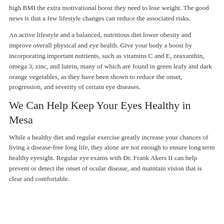high BMI the extra motivational boost they need to lose weight. The good news is that a few lifestyle changes can reduce the associated risks.
An active lifestyle and a balanced, nutritious diet lower obesity and improve overall physical and eye health. Give your body a boost by incorporating important nutrients, such as vitamins C and E, zeaxanthin, omega 3, zinc, and lutein, many of which are found in green leafy and dark orange vegetables, as they have been shown to reduce the onset, progression, and severity of certain eye diseases.
We Can Help Keep Your Eyes Healthy in Mesa
While a healthy diet and regular exercise greatly increase your chances of living a disease-free long life, they alone are not enough to ensure long term healthy eyesight. Regular eye exams with Dr. Frank Akers II can help prevent or detect the onset of ocular disease, and maintain vision that is clear and comfortable.